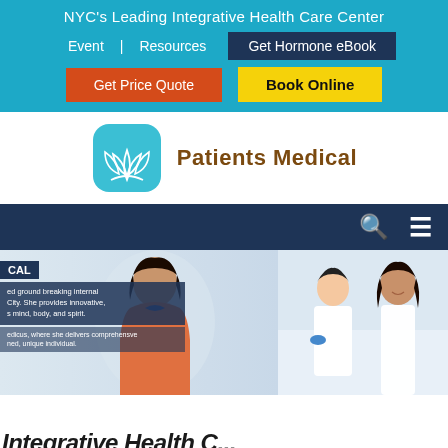NYC's Leading Integrative Health Care Center
Event  |  Resources
Get Hormone eBook
Get Price Quote
Book Online
[Figure (logo): Patients Medical logo: teal rounded-square icon with white lotus flower, beside the text 'Patients Medical' in brown bold font]
[Figure (photo): Hero banner showing a smiling woman doctor (Indian appearance, dark hair, orange and blue top) on the left panel, and two women in white lab coats in a clinical setting on the right panel. A blue overlay box on the left shows text about ground breaking internal medicine in NYC.]
CAL
ed ground breaking internal City. She provides innovative, s mind, body, and spirit.
edicus, where she delivers comprehensve ned, unique individual.
Integrative Health C...